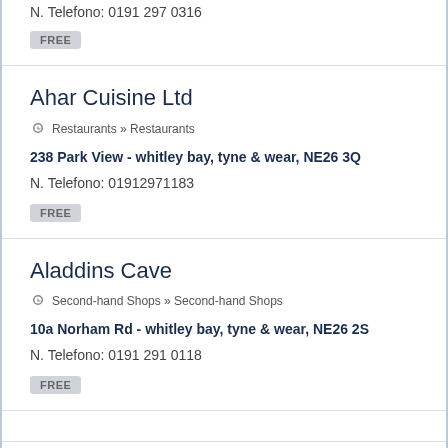N. Telefono: 0191 297 0316
FREE
Ahar Cuisine Ltd
Restaurants » Restaurants
238 Park View - whitley bay, tyne & wear, NE26 3Q
N. Telefono: 01912971183
FREE
Aladdins Cave
Second-hand Shops » Second-hand Shops
10a Norham Rd - whitley bay, tyne & wear, NE26 2S
N. Telefono: 0191 291 0118
FREE